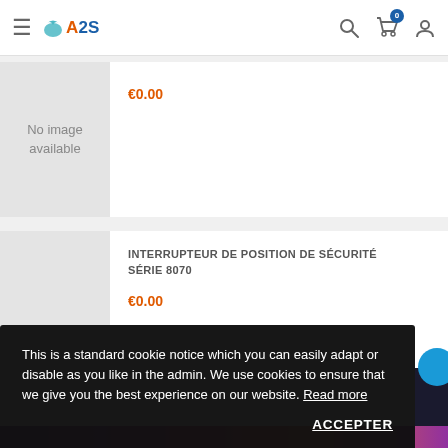A2S — Navigation header with logo, hamburger menu, search, cart (0), user icons
[Figure (other): No image available placeholder box (grey background)]
€0.00
INTERRUPTEUR DE POSITION DE SÉCURITÉ SÉRIE 8070
€0.00
This is a standard cookie notice which you can easily adapt or disable as you like in the admin. We use cookies to ensure that we give you the best experience on our website. Read more
ACCEPTER